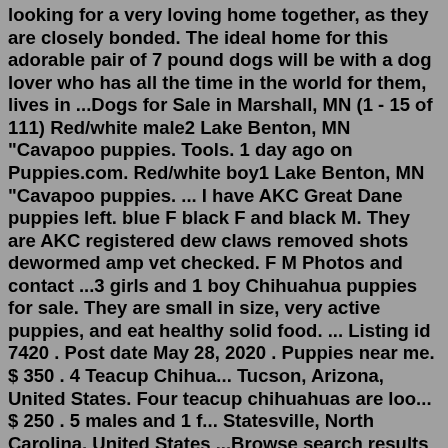looking for a very loving home together, as they are closely bonded. The ideal home for this adorable pair of 7 pound dogs will be with a dog lover who has all the time in the world for them, lives in ...Dogs for Sale in Marshall, MN (1 - 15 of 111) Red/white male2 Lake Benton, MN "Cavapoo puppies. Tools. 1 day ago on Puppies.com. Red/white boy1 Lake Benton, MN "Cavapoo puppies. ... I have AKC Great Dane puppies left. blue F black F and black M. They are AKC registered dew claws removed shots dewormed amp vet checked. F M Photos and contact ...3 girls and 1 boy Chihuahua puppies for sale. They are small in size, very active puppies, and eat healthy solid food. ... Listing id 7420 . Post date May 28, 2020 . Puppies near me. $ 350 . 4 Teacup Chihua... Tucson, Arizona, United States. Four teacup chihuahuas are loo... $ 250 . 5 males and 1 f... Statesville, North Carolina, United States ...Browse search results for teacup chihuahuas Pets and Animals for sale in Marshall, MN. AmericanListed features safe and local classifieds for everything you need! Small Dog Rescue of Minnesota